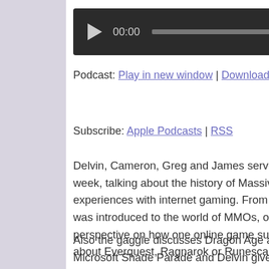[Figure (other): Audio player with dark background, play button, time display showing 00:00, progress bar, and end time 00:00]
Podcast: Play in new window | Download (Duration: 1:54:36 — 52.6MB)
Subscribe: Apple Podcasts | RSS
Delvin, Cameron, Greg and James serve up some interconnectedness realness this week, talking about the history of Massively Multiplayer Online games and their experiences with internet gaming. From WoW to now, we discuss how each caster was introduced to the world of MMOs, our all-time favourite franchises and our perspective on how one online game success informed the next. Feeling nostalgic about Everquest, Ragnarok or Runescape? Well, this episode is for you.
Also the gaggle discusses Dragon Age at PAX; plans, organises and executes a Microsoft Shade Parade and Delvin gives us the dish on Final Fantasy XIV.